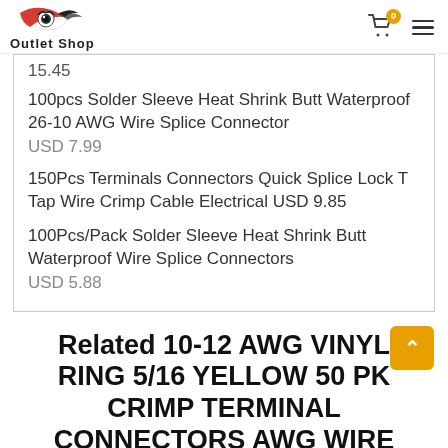Outlet Shop
15.45
100pcs Solder Sleeve Heat Shrink Butt Waterproof 26-10 AWG Wire Splice Connector USD 7.99
150Pcs Terminals Connectors Quick Splice Lock T Tap Wire Crimp Cable Electrical USD 9.85
100Pcs/Pack Solder Sleeve Heat Shrink Butt Waterproof Wire Splice Connectors USD 5.88
Related 10-12 AWG VINYL RING 5/16 YELLOW 50 PK CRIMP TERMINAL CONNECTORS AWG WIRE